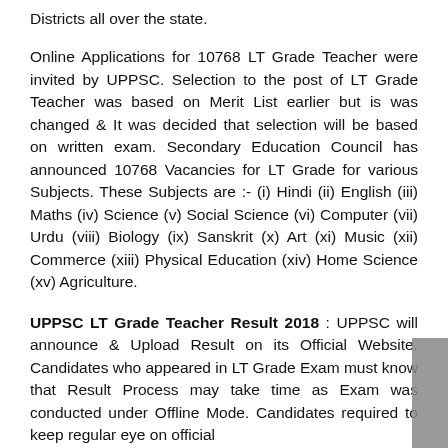Districts all over the state.
Online Applications for 10768 LT Grade Teacher were invited by UPPSC. Selection to the post of LT Grade Teacher was based on Merit List earlier but is was changed & It was decided that selection will be based on written exam. Secondary Education Council has announced 10768 Vacancies for LT Grade for various Subjects. These Subjects are :- (i) Hindi (ii) English (iii) Maths (iv) Science (v) Social Science (vi) Computer (vii) Urdu (viii) Biology (ix) Sanskrit (x) Art (xi) Music (xii) Commerce (xiii) Physical Education (xiv) Home Science (xv) Agriculture.
UPPSC LT Grade Teacher Result 2018 : UPPSC will announce & Upload Result on its Official Website. Candidates who appeared in LT Grade Exam must know that Result Process may take time as Exam was conducted under Offline Mode. Candidates required to keep regular eye on official